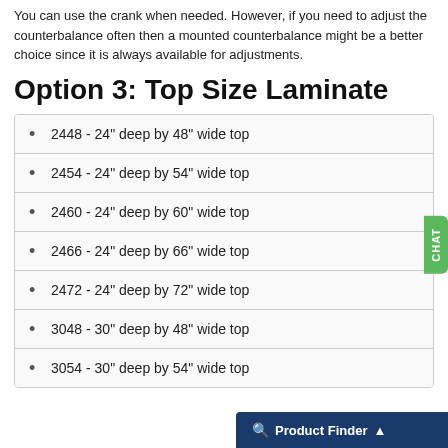You can use the crank when needed. However, if you need to adjust the counterbalance often then a mounted counterbalance might be a better choice since it is always available for adjustments.
Option 3: Top Size Laminate
2448 - 24" deep by 48" wide top
2454 - 24" deep by 54" wide top
2460 - 24" deep by 60" wide top
2466 - 24" deep by 66" wide top
2472 - 24" deep by 72" wide top
3048 - 30" deep by 48" wide top
3054 - 30" deep by 54" wide top